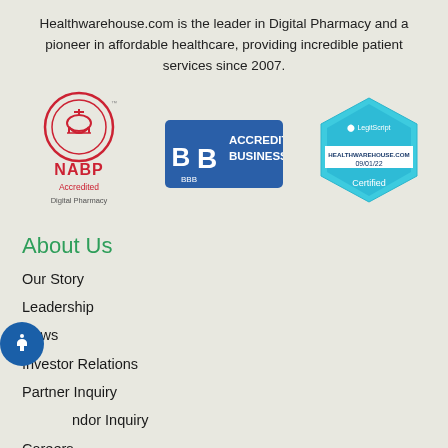Healthwarehouse.com is the leader in Digital Pharmacy and a pioneer in affordable healthcare, providing incredible patient services since 2007.
[Figure (logo): NABP Accredited Digital Pharmacy circular logo with pharmacy symbol, red and gray colors]
[Figure (logo): BBB Accredited Business logo with blue background and white text]
[Figure (logo): LegitScript Certified badge for HEALTHWAREHOUSE.COM 09/01/22 in teal/cyan hexagonal shape]
About Us
Our Story
Leadership
News
Investor Relations
Partner Inquiry
Vendor Inquiry
Careers
Company Media